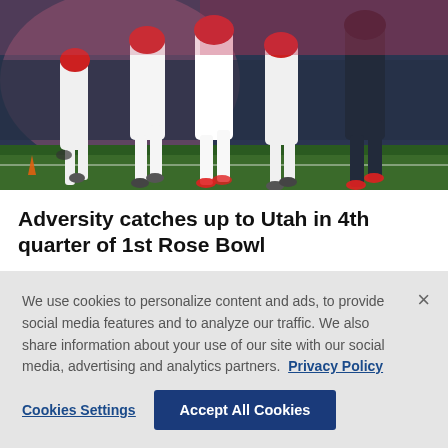[Figure (photo): Football players in white uniforms running on field during a night game, viewed from low angle showing legs and cleats on green turf with stadium lights and pink/blue background]
Adversity catches up to Utah in 4th quarter of 1st Rose Bowl
By Joe Reedy Jan. 01, 2022 11:39 PM EST
We use cookies to personalize content and ads, to provide social media features and to analyze our traffic. We also share information about your use of our site with our social media, advertising and analytics partners. Privacy Policy
Cookies Settings
Accept All Cookies